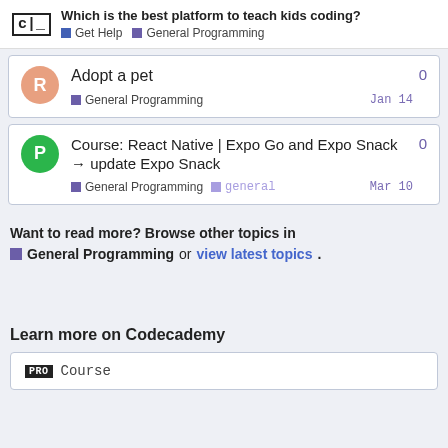Which is the best platform to teach kids coding? Get Help  General Programming
Adopt a pet — General Programming — Jan 14 — 0
Course: React Native | Expo Go and Expo Snack → update Expo Snack — General Programming — general — Mar 10 — 0
Want to read more? Browse other topics in General Programming or view latest topics.
Learn more on Codecademy
PRO Course